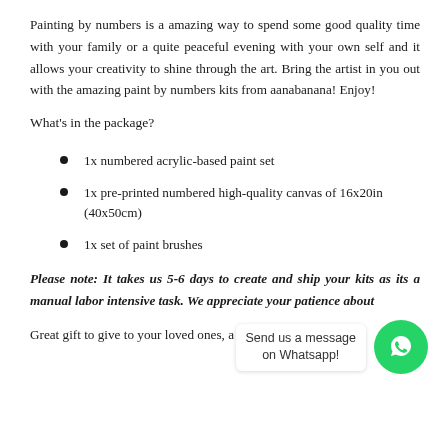Painting by numbers is a amazing way to spend some good quality time with your family or a quite peaceful evening with your own self and it allows your creativity to shine through the art. Bring the artist in you out with the amazing paint by numbers kits from aanabanana! Enjoy!
What's in the package?
1x numbered acrylic-based paint set
1x pre-printed numbered high-quality canvas of 16x20in (40x50cm)
1x set of paint brushes
Please note: It takes us 5-6 days to create and ship your kits as its a manual labor intensive task. We appreciate your patience about
Great gift to give to your loved ones, a relaxing activity - paint